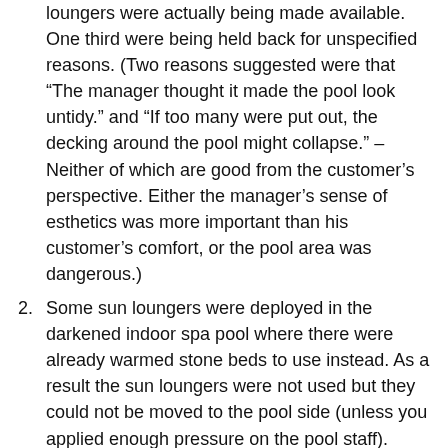loungers were actually being made available. One third were being held back for unspecified reasons. (Two reasons suggested were that “The manager thought it made the pool look untidy.” and “If too many were put out, the decking around the pool might collapse.” – Neither of which are good from the customer’s perspective. Either the manager’s sense of esthetics was more important than his customer’s comfort, or the pool area was dangerous.)
Some sun loungers were deployed in the darkened indoor spa pool where there were already warmed stone beds to use instead. As a result the sun loungers were not used but they could not be moved to the pool side (unless you applied enough pressure on the pool staff).
The spa reserved some sun-beds for people from outside the hotel who had signed up for a day spa...